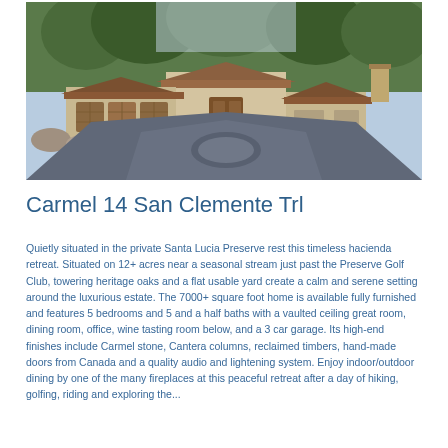[Figure (photo): Exterior photo of a hacienda-style estate home with tile roof, multiple garage bays with wood doors, circular driveway, surrounded by oak trees]
Carmel 14 San Clemente Trl
Quietly situated in the private Santa Lucia Preserve rest this timeless hacienda retreat. Situated on 12+ acres near a seasonal stream just past the Preserve Golf Club, towering heritage oaks and a flat usable yard create a calm and serene setting around the luxurious estate. The 7000+ square foot home is available fully furnished and features 5 bedrooms and 5 and a half baths with a vaulted ceiling great room, dining room, office, wine tasting room below, and a 3 car garage. Its high-end finishes include Carmel stone, Cantera columns, reclaimed timbers, hand-made doors from Canada and a quality audio and lightening system. Enjoy indoor/outdoor dining by one of the many fireplaces at this peaceful retreat after a day of hiking, golfing, riding and exploring the...